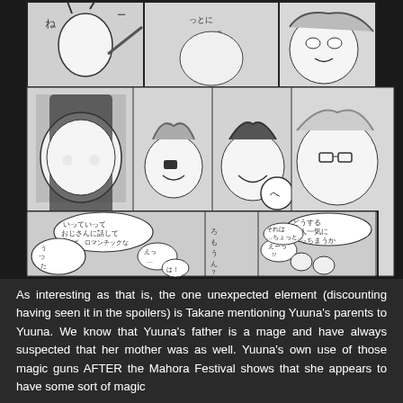[Figure (illustration): Manga page panels showing anime-style characters with Japanese speech bubbles. Top panels show group of girls reacting expressively, bottom panels show conversation scenes with Japanese text in speech bubbles.]
As interesting as that is, the one unexpected element (discounting having seen it in the spoilers) is Takane mentioning Yuuna's parents to Yuuna. We know that Yuuna's father is a mage and have always suspected that her mother was as well. Yuuna's own use of those magic guns AFTER the Mahora Festival shows that she appears to have some sort of magic